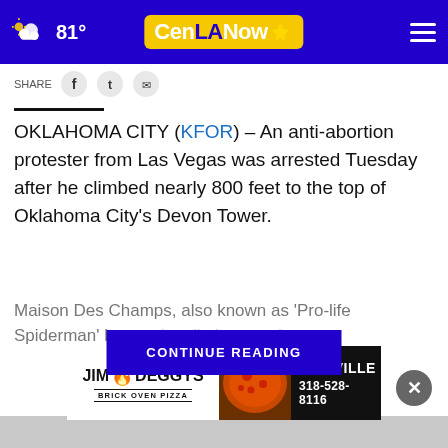CenLA Now — 81° weather
SHARE (social icons)
OKLAHOMA CITY (KFOR) – An anti-abortion protester from Las Vegas was arrested Tuesday after he climbed nearly 800 feet to the top of Oklahoma City's Devon Tower.
Maison Des Champs, also known as 'Pro-life Spiderman' be[gan the climb around] a.m.
CONTINUE READING
[Figure (advertisement): Jim Deggys Brick Oven Pizza — Pineville 318-528-8116 advertisement]